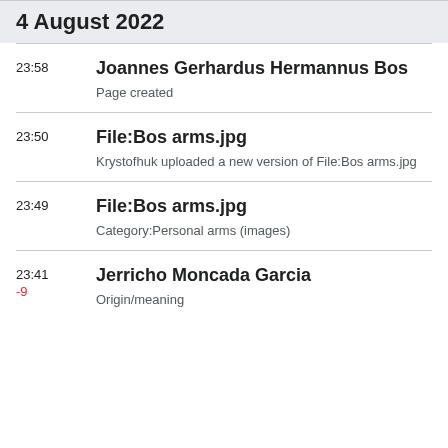4 August 2022
23:58
Joannes Gerhardus Hermannus Bos
Page created
23:50
File:Bos arms.jpg
Krystofhuk uploaded a new version of File:Bos arms.jpg
23:49
File:Bos arms.jpg
Category:Personal arms (images)
23:41
-9
Jerricho Moncada Garcia
Origin/meaning